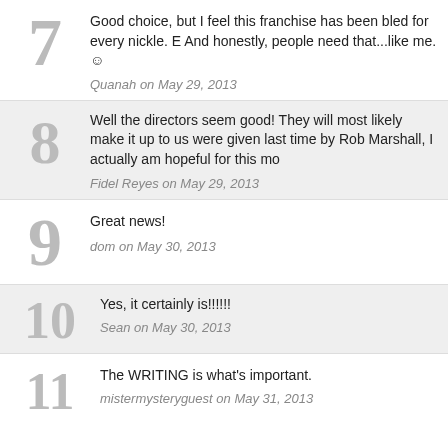7. Good choice, but I feel this franchise has been bled for every nickle. And honestly, people need that...like me. :) — Quanah on May 29, 2013
8. Well the directors seem good! They will most likely make it up to us for the mess we were given last time by Rob Marshall, I actually am hopeful for this mo... — Fidel Reyes on May 29, 2013
9. Great news! — dom on May 30, 2013
10. Yes, it certainly is!!!!!! — Sean on May 30, 2013
11. The WRITING is what's important. — mistermysteryguest on May 31, 2013